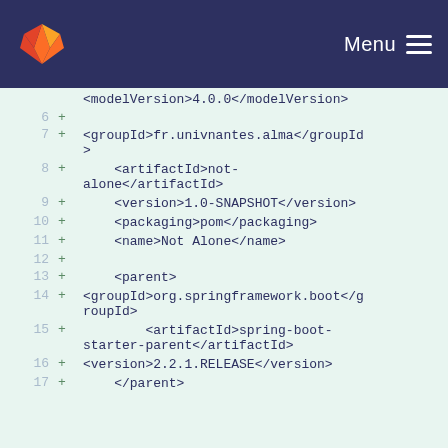GitLab — Menu
<modelVersion>4.0.0</modelVersion>
6 +
7 +
    <groupId>fr.univnantes.alma</groupId>
    >
8 +        <artifactId>not-alone</artifactId>
9 +        <version>1.0-SNAPSHOT</version>
10 +        <packaging>pom</packaging>
11 +        <name>Not Alone</name>
12 +
13 +        <parent>
14 +
    <groupId>org.springframework.boot</g
    roupId>
15 +            <artifactId>spring-boot-starter-parent</artifactId>
16 +
    <version>2.2.1.RELEASE</version>
17 +        </parent>